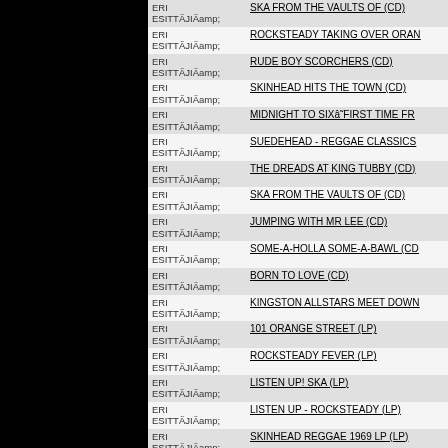| Esittäjä | Title |
| --- | --- |
| ERI ESITTÄJIÄamp; | SKA FROM THE VAULTS OF (CD) |
| ERI ESITTÄJIÄamp; | ROCKSTEADY TAKING OVER ORAN |
| ERI ESITTÄJIÄamp; | RUDE BOY SCORCHERS (CD) |
| ERI ESITTÄJIÄamp; | SKINHEAD HITS THE TOWN (CD) |
| ERI ESITTÄJIÄamp; | MIDNIGHT TO SIXâ FIRST TIME FR |
| ERI ESITTÄJIÄamp; | SUEDEHEAD - REGGAE CLASSICS |
| ERI ESITTÄJIÄamp; | THE DREADS AT KING TUBBY (CD) |
| ERI ESITTÄJIÄamp; | SKA FROM THE VAULTS OF (CD) |
| ERI ESITTÄJIÄamp; | JUMPING WITH MR LEE (CD) |
| ERI ESITTÄJIÄamp; | SOME-A-HOLLA SOME-A-BAWL (CD) |
| ERI ESITTÄJIÄamp; | BORN TO LOVE (CD) |
| ERI ESITTÄJIÄamp; | KINGSTON ALLSTARS MEET DOWN |
| ERI ESITTÄJIÄamp; | 101 ORANGE STREET (LP) |
| ERI ESITTÄJIÄamp; | ROCKSTEADY FEVER (LP) |
| ERI ESITTÄJIÄamp; | LISTEN UP! SKA (LP) |
| ERI ESITTÄJIÄamp; | LISTEN UP - ROCKSTEADY (LP) |
| ERI ESITTÄJIÄamp; | SKINHEAD REGGAE 1969 LP (LP) |
| ERI ESITTÄJIÄamp; | RUDE BOY SCORCHERS (LP) |